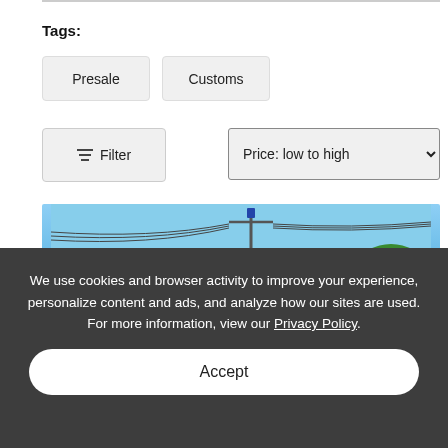Tags:
Presale
Customs
Filter
Price: low to high
[Figure (photo): Outdoor photo showing utility poles and power lines against a blue sky with some green trees visible at the edge.]
We use cookies and browser activity to improve your experience, personalize content and ads, and analyze how our sites are used. For more information, view our Privacy Policy.
Accept